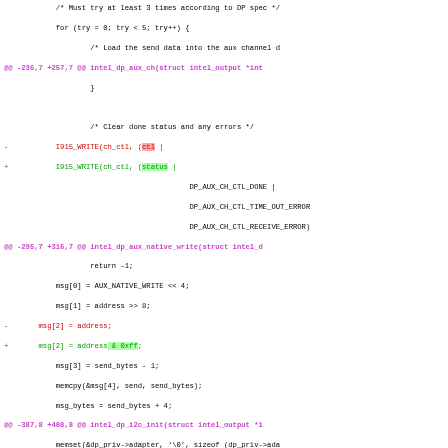[Figure (screenshot): A code diff showing changes to Intel display port auxiliary channel driver code. Three diff hunks are shown with removed lines in red and added lines in green, on a white background using monospace font.]